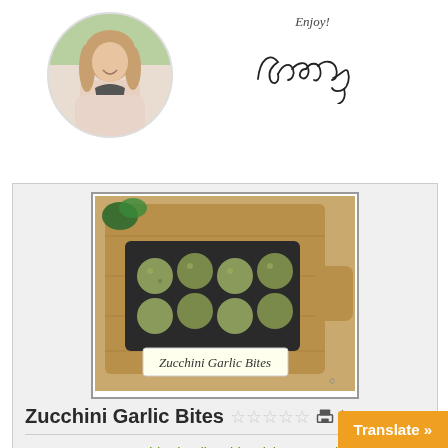[Figure (photo): Circular profile photo of a smiling woman with long hair, wearing a light pink top, outdoors with greenery in background]
Enjoy!
Chelsey
[Figure (photo): Recipe photo showing zucchini garlic bites on a black slate board placed on a wooden cutting board, with a label reading 'Zucchini Garlic Bites']
Zucchini Garlic Bites
Course    Kid Friendly, Side Dishes, Snacks
Servings